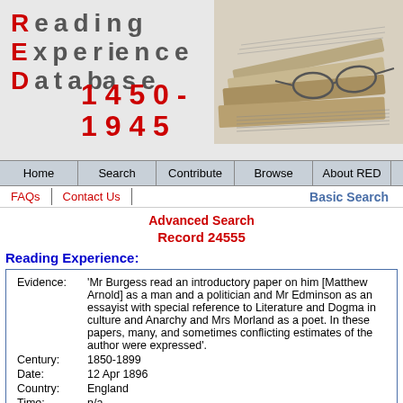[Figure (illustration): Reading Experience Database (RED) header banner with stylized RED acronym letters in red and grey, date range 1450-1945 in red, and an illustration of books and glasses on the right side]
Home | Search | Contribute | Browse | About RED
FAQs | Contact Us | Basic Search
Advanced Search
Record 24555
Reading Experience:
| Field | Value |
| --- | --- |
| Evidence: | 'Mr Burgess read an introductory paper on him [Matthew Arnold] as a man and a politician and Mr Edminson as an essayist with special reference to Literature and Dogma in culture and Anarchy and Mrs Morland as a poet. In these papers, many, and sometimes conflicting estimates of the author were expressed'. |
| Century: | 1850-1899 |
| Date: | 12 Apr 1896 |
| Country: | England |
| Time: | n/a |
| Place: | city: Reading |